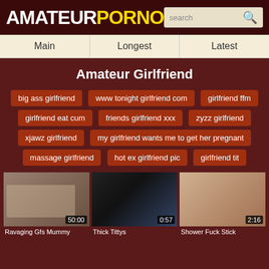AMATEURPORNO
Main
Longest
Latest
Amateur Girlfriend
big ass girlfriend
www tonight girlfriend com
girlfriend ffm
girlfriend eat cum
friends girlfriend xxx
zyzz girlfriend
xjawz girlfriend
my girlfriend wants me to get her pregnant
massage girlfriend
hot ex girlfriend pic
girlfriend tit
[Figure (photo): Video thumbnail - Ravaging Gfs Mummy, duration 50:00]
Ravaging Gfs Mummy
[Figure (photo): Video thumbnail - Thick Tittys, duration 0:57]
Thick Tittys
[Figure (photo): Video thumbnail - Shower Fuck Stick, duration 2:16]
Shower Fuck Stick